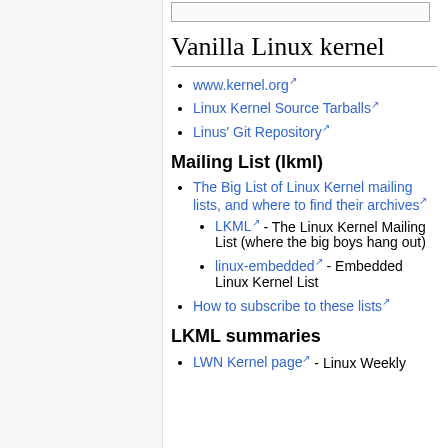Vanilla Linux kernel
www.kernel.org
Linux Kernel Source Tarballs
Linus' Git Repository
Mailing List (lkml)
The Big List of Linux Kernel mailing lists, and where to find their archives
LKML - The Linux Kernel Mailing List (where the big boys hang out)
linux-embedded - Embedded Linux Kernel List
How to subscribe to these lists
LKML summaries
LWN Kernel page - Linux Weekly